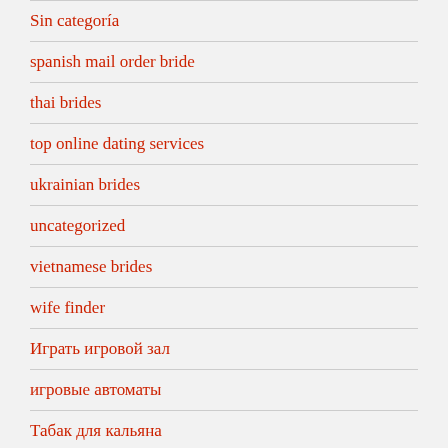Sin categoría
spanish mail order bride
thai brides
top online dating services
ukrainian brides
uncategorized
vietnamese brides
wife finder
Играть игровой зал
игровые автоматы
Табак для кальяна